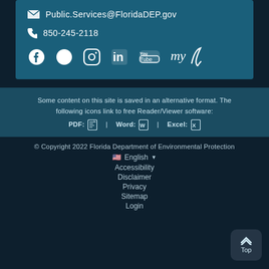✉ Public.Services@FloridaDEP.gov
☎ 850-245-2118
[Figure (illustration): Social media icons: Facebook, Twitter, Instagram, LinkedIn, YouTube, MyFlorida]
Some content on this site is saved in an alternative format. The following icons link to free Reader/Viewer software: PDF: [icon] | Word: [icon] | Excel: [icon]
© Copyright 2022 Florida Department of Environmental Protection
English
Accessibility
Disclaimer
Privacy
Sitemap
Login